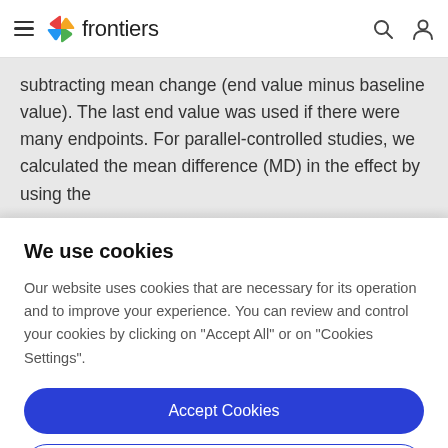frontiers
subtracting mean change (end value minus baseline value). The last end value was used if there were many endpoints. For parallel-controlled studies, we calculated the mean difference (MD) in the effect by using the
We use cookies
Our website uses cookies that are necessary for its operation and to improve your experience. You can review and control your cookies by clicking on "Accept All" or on "Cookies Settings".
Accept Cookies
Cookies Settings